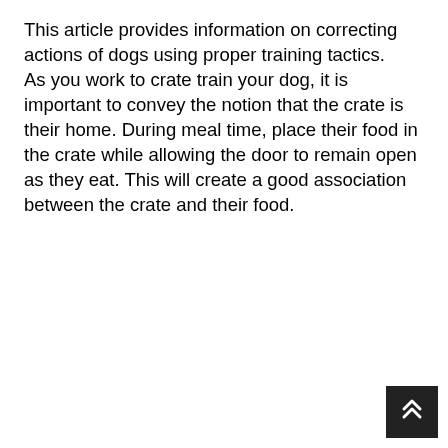This article provides information on correcting actions of dogs using proper training tactics. As you work to crate train your dog, it is important to convey the notion that the crate is their home. During meal time, place their food in the crate while allowing the door to remain open as they eat. This will create a good association between the crate and their food.